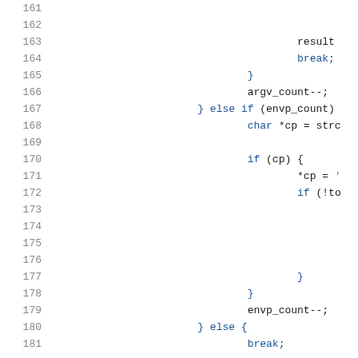[Figure (screenshot): Source code snippet showing lines 161-181 of a C program with line numbers, featuring code with keywords highlighted in blue and string content in gold/yellow monospace font on white background.]